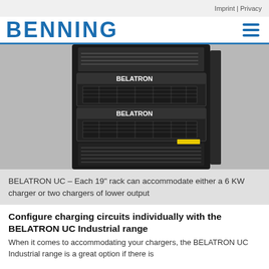Imprint | Privacy
[Figure (logo): BENNING company logo in blue with hamburger menu icon]
[Figure (photo): BELATRON UC industrial battery charger units mounted in a 19-inch rack cabinet, showing multiple charger modules labeled BELATRON]
BELATRON UC – Each 19" rack can accommodate either a 6 KW charger or two chargers of lower output
Configure charging circuits individually with the BELATRON UC Industrial range
When it comes to accommodating your chargers, the BELATRON UC Industrial range is a great option if there is